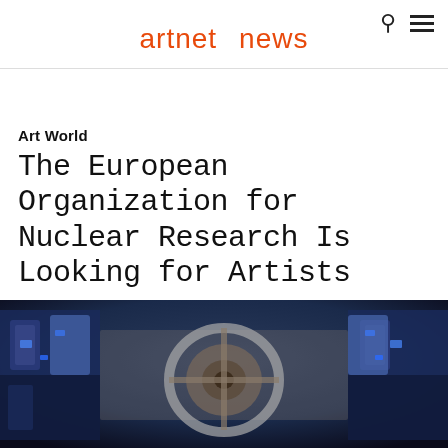artnet news
Art World
The European Organization for Nuclear Research Is Looking for Artists
The winner will partner with a scientist.
Sarah Cascone, March 15, 2016
[Figure (photo): Overhead view of large scientific machinery at CERN, showing circular track components and blue industrial equipment]